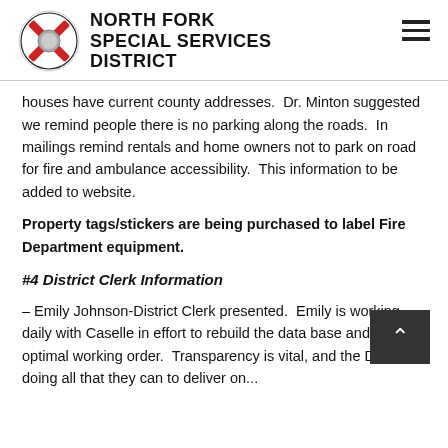NORTH FORK SPECIAL SERVICES DISTRICT
houses have current county addresses.  Dr. Minton suggested we remind people there is no parking along the roads.  In mailings remind rentals and home owners not to park on road for fire and ambulance accessibility.  This information to be added to website.
Property tags/stickers are being purchased to label Fire Department equipment.
#4 District Clerk Information
– Emily Johnson-District Clerk presented.  Emily is working daily with Caselle in effort to rebuild the data base and get it in optimal working order.  Transparency is vital, and the District is doing all that they can to deliver on...